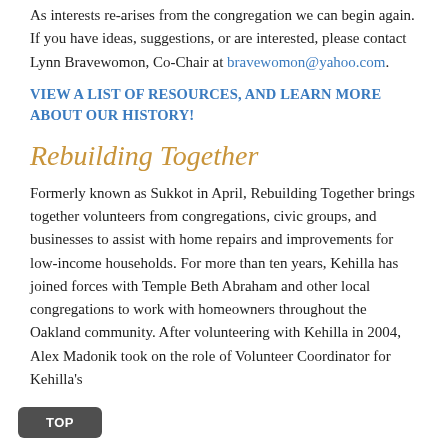As interests re-arises from the congregation we can begin again. If you have ideas, suggestions, or are interested, please contact Lynn Bravewomon, Co-Chair at bravewomon@yahoo.com.
VIEW A LIST OF RESOURCES, AND LEARN MORE ABOUT OUR HISTORY!
Rebuilding Together
Formerly known as Sukkot in April, Rebuilding Together brings together volunteers from congregations, civic groups, and businesses to assist with home repairs and improvements for low-income households. For more than ten years, Kehilla has joined forces with Temple Beth Abraham and other local congregations to work with homeowners throughout the Oakland community. After volunteering with Kehilla in 2004, Alex Madonik took on the role of Volunteer Coordinator for Kehilla's